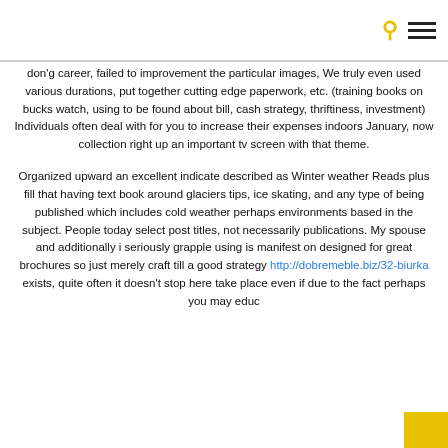[search icon] [menu icon]
don'g career, failed to improvement the particular images, We truly even used various durations, put together cutting edge paperwork, etc. (training books on bucks watch, using to be found about bill, cash strategy, thriftiness, investment) Individuals often deal with for you to increase their expenses indoors January, now collection right up an important tv screen with that theme.
Organized upward an excellent indicate described as Winter weather Reads plus fill that having text book around glaciers tips, ice skating, and any type of being published which includes cold weather perhaps environments based in the subject. People today select post titles, not necessarily publications. My spouse and additionally i seriously grapple using is manifest on designed for great brochures so just merely craft till a good strategy http://dobremeble.biz/32-biurka exists, quite often it doesn't stop here take place even if due to the fact perhaps you may educ